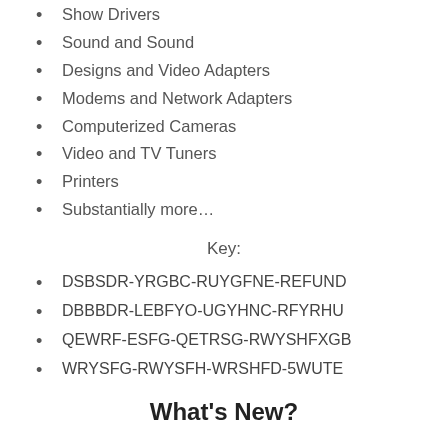Show Drivers
Sound and Sound
Designs and Video Adapters
Modems and Network Adapters
Computerized Cameras
Video and TV Tuners
Printers
Substantially more…
Key:
DSBSDR-YRGBC-RUYGFNE-REFUND
DBBBDR-LEBFYO-UGYHNC-RFYRHU
QEWRF-ESFG-QETRSG-RWYSHFXGB
WRYSFG-RWYSFH-WRSHFD-5WUTE
What's New?